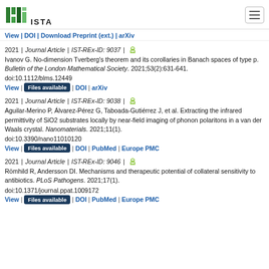ISTA logo and navigation
View | DOI | Download Preprint (ext.) | arXiv
2021 | Journal Article | IST-REx-ID: 9037 | [open access icon]
Ivanov G. No-dimension Tverberg's theorem and its corollaries in Banach spaces of type p. Bulletin of the London Mathematical Society. 2021;53(2):631-641. doi:10.1112/blms.12449
View | Files available | DOI | arXiv
2021 | Journal Article | IST-REx-ID: 9038 | [open access icon]
Aguilar-Merino P, Álvarez-Pérez G, Taboada-Gutiérrez J, et al. Extracting the infrared permittivity of SiO2 substrates locally by near-field imaging of phonon polaritons in a van der Waals crystal. Nanomaterials. 2021;11(1). doi:10.3390/nano11010120
View | Files available | DOI | PubMed | Europe PMC
2021 | Journal Article | IST-REx-ID: 9046 | [open access icon]
Römhild R, Andersson DI. Mechanisms and therapeutic potential of collateral sensitivity to antibiotics. PLoS Pathogens. 2021;17(1). doi:10.1371/journal.ppat.1009172
View | Files available | DOI | PubMed | Europe PMC